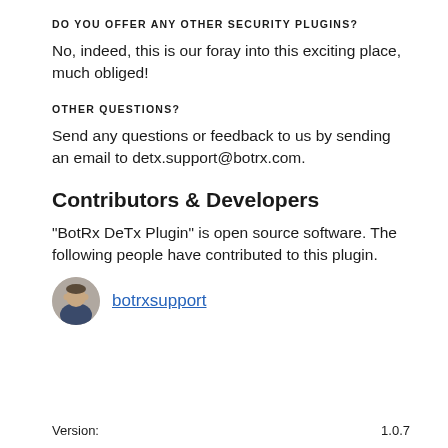DO YOU OFFER ANY OTHER SECURITY PLUGINS?
No, indeed, this is our foray into this exciting place, much obliged!
OTHER QUESTIONS?
Send any questions or feedback to us by sending an email to detx.support@botrx.com.
Contributors & Developers
“BotRx DeTx Plugin” is open source software. The following people have contributed to this plugin.
[Figure (photo): Avatar photo of contributor botrxsupport]
botrxsupport
Version:	1.0.7